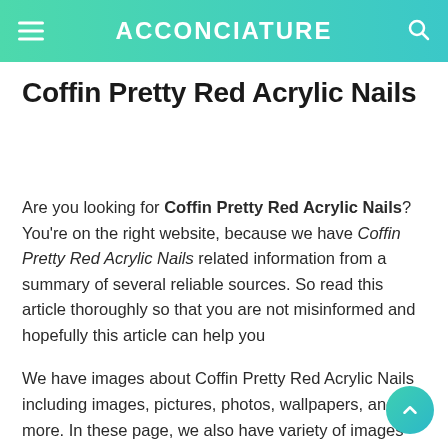ACCONCIATURE
Coffin Pretty Red Acrylic Nails
Are you looking for Coffin Pretty Red Acrylic Nails? You're on the right website, because we have Coffin Pretty Red Acrylic Nails related information from a summary of several reliable sources. So read this article thoroughly so that you are not misinformed and hopefully this article can help you
We have images about Coffin Pretty Red Acrylic Nails including images, pictures, photos, wallpapers, and more. In these page, we also have variety of images